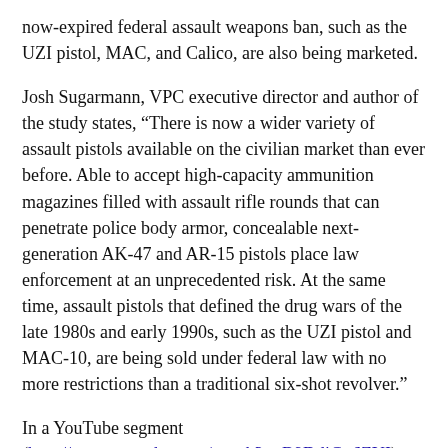now-expired federal assault weapons ban, such as the UZI pistol, MAC, and Calico, are also being marketed.
Josh Sugarmann, VPC executive director and author of the study states, “There is now a wider variety of assault pistols available on the civilian market than ever before. Able to accept high-capacity ammunition magazines filled with assault rifle rounds that can penetrate police body armor, concealable next-generation AK-47 and AR-15 pistols place law enforcement at an unprecedented risk. At the same time, assault pistols that defined the drug wars of the late 1980s and early 1990s, such as the UZI pistol and MAC-10, are being sold under federal law with no more restrictions than a traditional six-shot revolver.”
In a YouTube segment (http://www.youtube.com/watch?v=B9DdiGu6ZYI) from his cable television show Ted Nugent’s Spirit of the Wild titled “Uncle Ted’s Favorite Guns,” National Rifle Association Board Member Ted Nugent